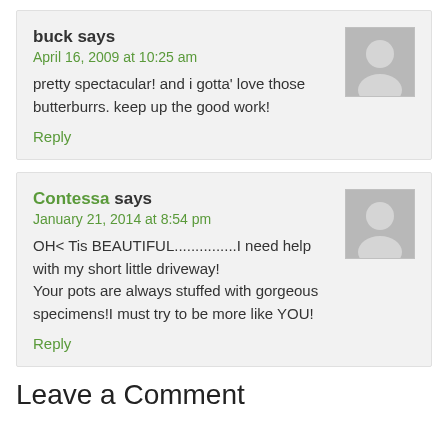buck says
April 16, 2009 at 10:25 am
pretty spectacular! and i gotta' love those butterburrs. keep up the good work!
Reply
Contessa says
January 21, 2014 at 8:54 pm
OH< Tis BEAUTIFUL...............I need help with my short little driveway!
Your pots are always stuffed with gorgeous specimens!I must try to be more like YOU!
Reply
Leave a Comment